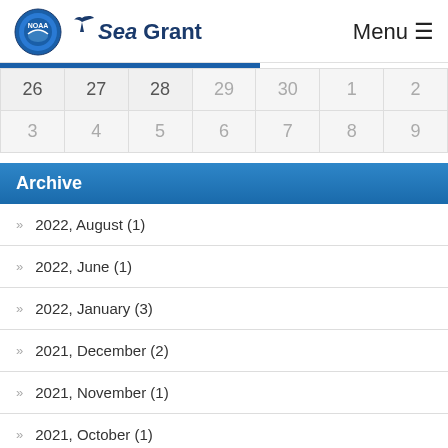NOAA Sea Grant — Menu
| 26 | 27 | 28 | 29 | 30 | 1 | 2 |
| 3 | 4 | 5 | 6 | 7 | 8 | 9 |
Archive
2022, August (1)
2022, June (1)
2022, January (3)
2021, December (2)
2021, November (1)
2021, October (1)
2021, August (2)
2021, July (3)
2021, June (1)
2021, May (1)